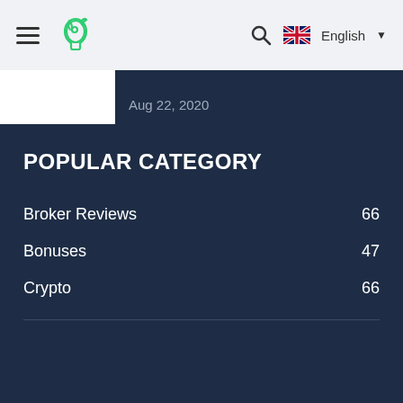Navigation bar with menu, logo, search, and English language selector
Aug 22, 2020
POPULAR CATEGORY
Broker Reviews 66
Bonuses 47
Crypto 66